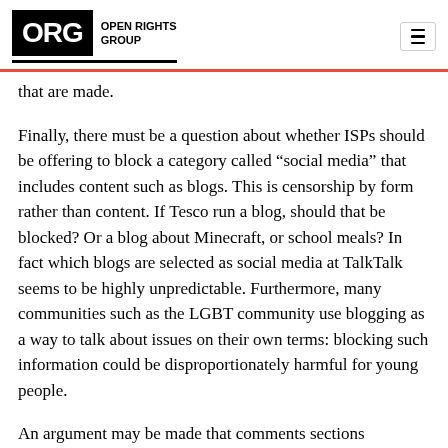ORG OPEN RIGHTS GROUP
that are made.
Finally, there must be a question about whether ISPs should be offering to block a category called “social media” that includes content such as blogs. This is censorship by form rather than content. If Tesco run a blog, should that be blocked? Or a blog about Minecraft, or school meals? In fact which blogs are selected as social media at TalkTalk seems to be highly unpredictable. Furthermore, many communities such as the LGBT community use blogging as a way to talk about issues on their own terms: blocking such information could be disproportionately harmful for young people.
An argument may be made that comments sections